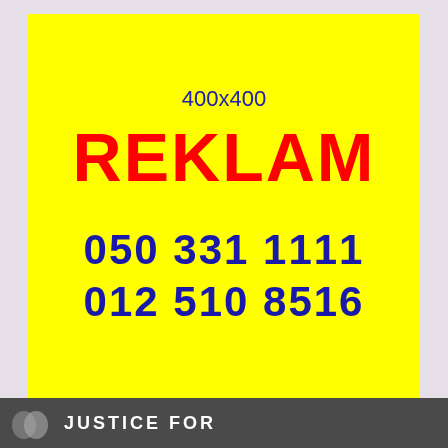[Figure (infographic): Yellow advertisement banner with text '400x400', large red bold 'REKLAM', and blue phone numbers '050 331 1111' and '012 510 8516']
JUSTICE FOR